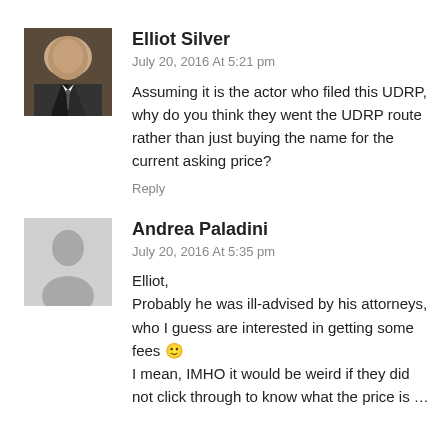[Figure (photo): Profile photo of Elliot Silver, a man in a dark suit with arms crossed]
Elliot Silver
July 20, 2016 At 5:21 pm
Assuming it is the actor who filed this UDRP, why do you think they went the UDRP route rather than just buying the name for the current asking price?
Reply
[Figure (illustration): Generic gray avatar placeholder silhouette for Andrea Paladini]
Andrea Paladini
July 20, 2016 At 5:35 pm
Elliot,
Probably he was ill-advised by his attorneys, who I guess are interested in getting some fees 🙂
I mean, IMHO it would be weird if they did not click through to know what the price is …